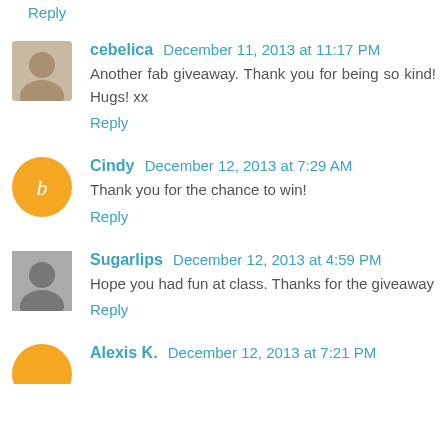Reply
cebelica  December 11, 2013 at 11:17 PM
Another fab giveaway. Thank you for being so kind! Hugs! xx
Reply
Cindy  December 12, 2013 at 7:29 AM
Thank you for the chance to win!
Reply
Sugarlips  December 12, 2013 at 4:59 PM
Hope you had fun at class. Thanks for the giveaway
Reply
Alexis K.  December 12, 2013 at 7:21 PM